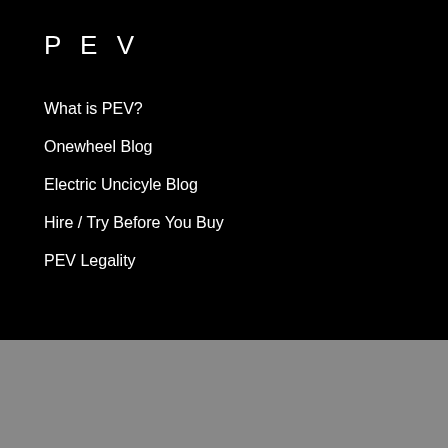P E V
What is PEV?
Onewheel Blog
Electric Uncicyle Blog
Hire / Try Before You Buy
PEV Legality
[Figure (logo): Payment method logos: Visa, American Express, Mastercard, PayPal, Zip, Afterpay, and a chat bubble icon]
Contact Us   Wishlist   Previous Orders   Cart   Log Out